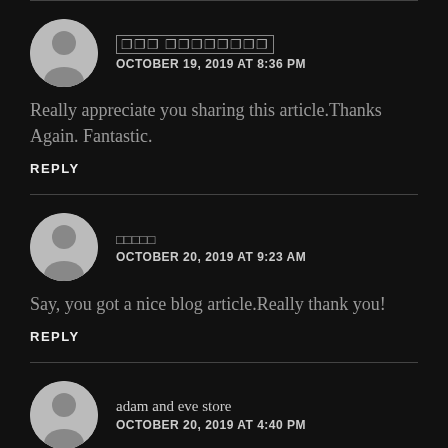[non-Latin username] OCTOBER 19, 2019 AT 8:36 PM
Really appreciate you sharing this article.Thanks Again. Fantastic.
REPLY
[non-Latin username] OCTOBER 20, 2019 AT 9:23 AM
Say, you got a nice blog article.Really thank you!
REPLY
adam and eve store OCTOBER 20, 2019 AT 4:40 PM